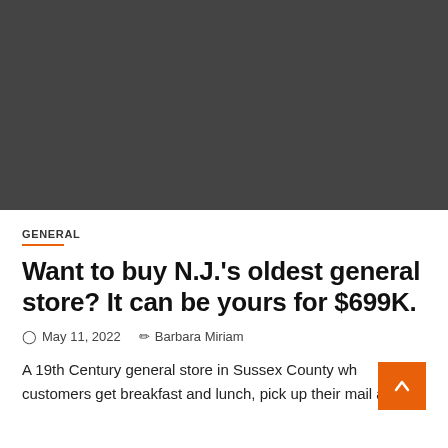[Figure (photo): Dark grey/black rectangular image placeholder at the top of the page]
GENERAL
Want to buy N.J.'s oldest general store? It can be yours for $699K.
May 11, 2022   Barbara Miriam
A 19th Century general store in Sussex County wh customers get breakfast and lunch, pick up their mail and...